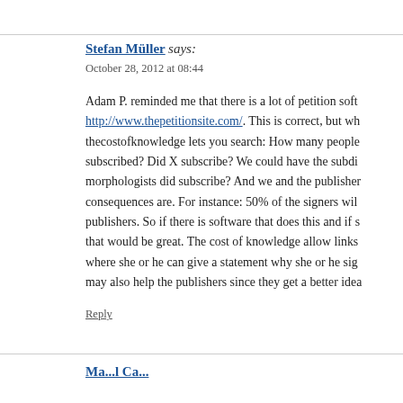Stefan Müller says:
October 28, 2012 at 08:44
Adam P. reminded me that there is a lot of petition software like http://www.thepetitionsite.com/. This is correct, but what thecostofknowledge lets you search: How many people subscribed? Did X subscribe? We could have the subdisciplines: How many morphologists did subscribe? And we and the publishers know what the consequences are. For instance: 50% of the signers will not review for publishers. So if there is software that does this and if someone knows it, that would be great. The cost of knowledge allow links to personal pages where she or he can give a statement why she or he signed. This may also help the publishers since they get a better idea
Reply
Ma...l Cam...st